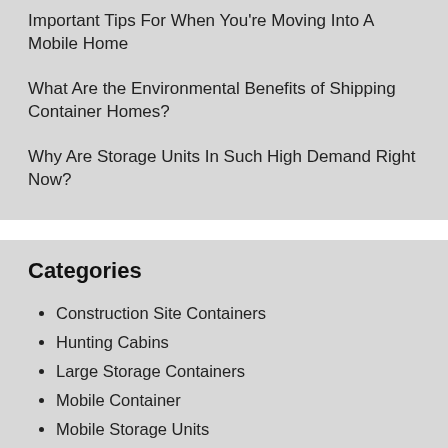Important Tips For When You're Moving Into A Mobile Home
What Are the Environmental Benefits of Shipping Container Homes?
Why Are Storage Units In Such High Demand Right Now?
Categories
Construction Site Containers
Hunting Cabins
Large Storage Containers
Mobile Container
Mobile Storage Units
Moving Tips
Oil and Gas Industry Containers
Pod Units
Portable Containers